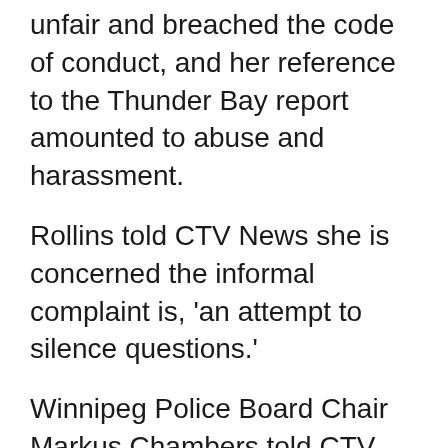unfair and breached the code of conduct, and her reference to the Thunder Bay report amounted to abuse and harassment.
Rollins told CTV News she is concerned the informal complaint is, 'an attempt to silence questions.'
Winnipeg Police Board Chair Markus Chambers told CTV News he is aware of the complaint but is not savvy to its contents. He said the police board felt comfortable with the Winnipeg police's response to the protest which he said was based on an established plan.
He said he is concerned by Rollins' reference to the Thunder Bay report, saying Winnipeg is not in the same situation.